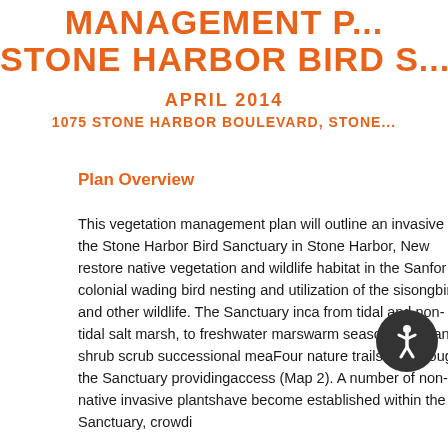MANAGEMENT P… STONE HARBOR BIRD S…
APRIL 2014
1075 STONE HARBOR BOULEVARD, STONE…
Plan Overview
This vegetation management plan will outline an invasive … the Stone Harbor Bird Sanctuary in Stone Harbor, New … restore native vegetation and wildlife habitat in the San… for colonial wading bird nesting and utilization of the si… songbirds and other wildlife. The Sanctuary inc… a … from tidal and non-tidal salt marsh, to freshwater mars… warm season grass and shrub scrub successional mea… Four nature trails run through the Sanctuary providing … access (Map 2). A number of non-native invasive plants … have become established within the Sanctuary, crowdi…